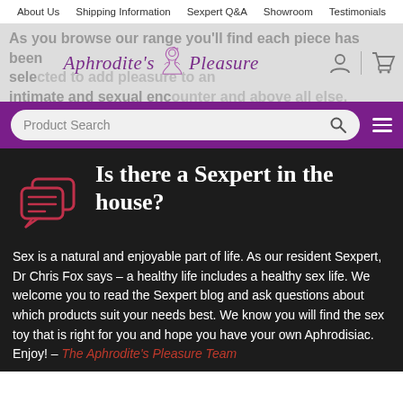About Us | Shipping Information | Sexpert Q&A | Showroom | Testimonials
[Figure (logo): Aphrodite's Pleasure logo with decorative script text and illustrated female figure, with user account and shopping basket icons on the right]
As you browse our range you'll find each piece has been selected to add pleasure to an intimate and sexual encounter and above all else, ensure
[Figure (screenshot): Purple search bar with 'Product Search' placeholder text, search icon, and hamburger menu icon]
Is there a Sexpert in the house?
Sex is a natural and enjoyable part of life. As our resident Sexpert, Dr Chris Fox says – a healthy life includes a healthy sex life. We welcome you to read the Sexpert blog and ask questions about which products suit your needs best. We know you will find the sex toy that is right for you and hope you have your own Aphrodisiac. Enjoy! – The Aphrodite's Pleasure Team